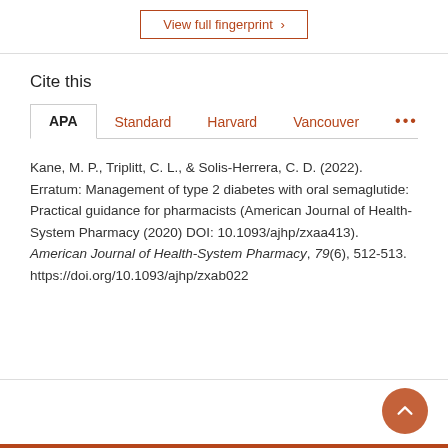View full fingerprint ›
Cite this
APA  Standard  Harvard  Vancouver  •••
Kane, M. P., Triplitt, C. L., & Solis-Herrera, C. D. (2022). Erratum: Management of type 2 diabetes with oral semaglutide: Practical guidance for pharmacists (American Journal of Health-System Pharmacy (2020) DOI: 10.1093/ajhp/zxaa413). American Journal of Health-System Pharmacy, 79(6), 512-513. https://doi.org/10.1093/ajhp/zxab022